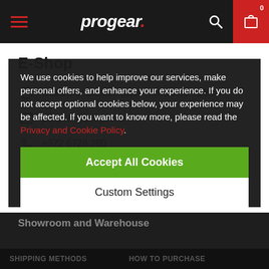progear.
E-Shop
Customer Service Mon - Fri: 10:00 - 18:00
progear@progear.ee
+372 6728 280
Showroom and Warehouse
We use cookies to help improve our services, make personal offers, and enhance your experience. If you do not accept optional cookies below, your experience may be affected. If you want to know more, please read the Privacy and Cookie Policy.
Accept All Cookies
Custom Settings
SHIPPING METHODS   HOW TO PURCHASE